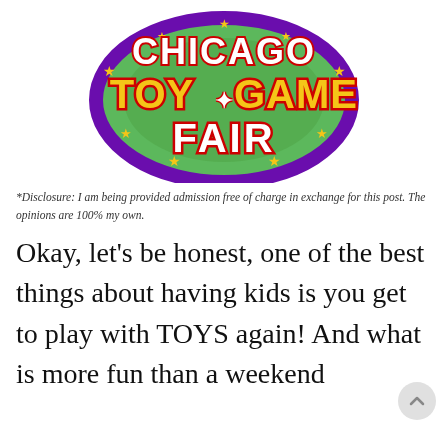[Figure (logo): Chicago Toy & Game Fair logo — colorful stylized text on a green globe with purple border and yellow stars]
*Disclosure: I am being provided admission free of charge in exchange for this post. The opinions are 100% my own.
Okay, let's be honest, one of the best things about having kids is you get to play with TOYS again! And what is more fun than a weekend